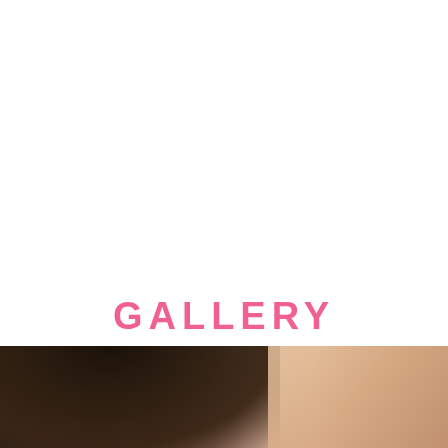GALLERY
orem ipsum dolor sit amet, consectetur adipiscing elit,
[Figure (photo): Partial view of a person with dark curly hair against a light background, cropped at bottom of page]